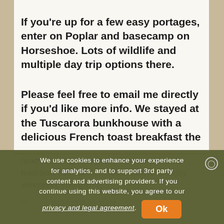If you're up for a few easy portages, enter on Poplar and basecamp on Horseshoe. Lots of wildlife and multiple day trip options there.
Please feel free to email me directly if you'd like more info. We stayed at the Tuscarora bunkhouse with a delicious French toast breakfast the
We use cookies to enhance your experience for analytics, and to support 3rd party content and advertising providers. If you continue using this website, you agree to our privacy and legal agreement. Ok